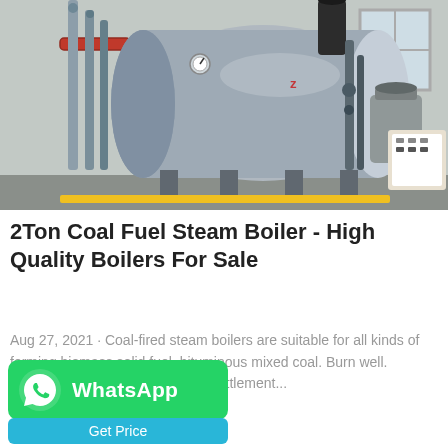[Figure (photo): Industrial coal-fuel steam boiler in a factory setting. Large cylindrical silver/steel boiler unit with pipes, valves, and a control panel visible. Concrete walls and windows in background.]
2Ton Coal Fuel Steam Boiler - High Quality Boilers For Sale
Aug 27, 2021 · Coal-fired steam boilers are suitable for all kinds of forming biomass solid fuel, bituminous mixed coal. Burn well. Because the flue gas enters the settlement...